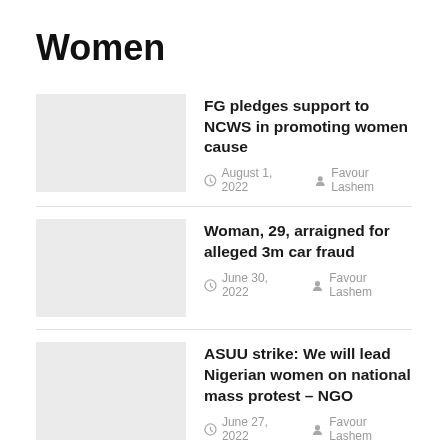Women
FG pledges support to NCWS in promoting women cause | August 1, 2022 | Favour Lashem
Woman, 29, arraigned for alleged 3m car fraud | June 30, 2022 | Favour Lashem
ASUU strike: We will lead Nigerian women on national mass protest – NGO | June 27, 2022 | Favour Lashem